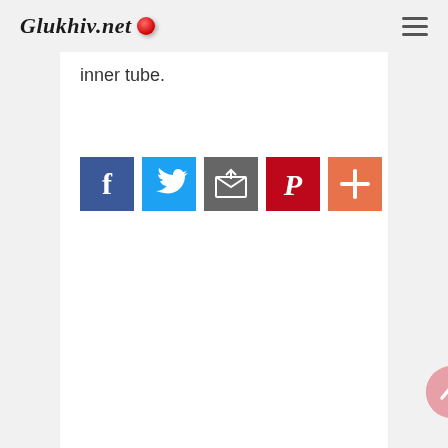Glukhiv.net
inner tube.
[Figure (screenshot): Row of five social sharing buttons: Facebook (blue), Twitter (light blue), Email/share (gray), Pinterest (red), More/plus (orange-red)]
[Figure (other): Back to top button — pink circle with upward chevron arrow]